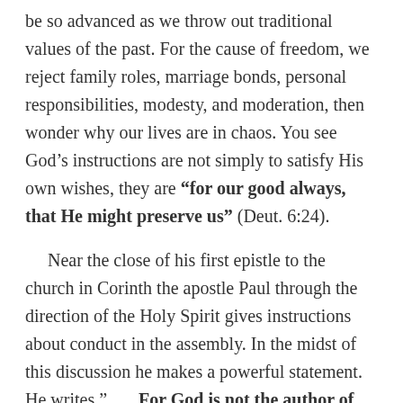be so advanced as we throw out traditional values of the past. For the cause of freedom, we reject family roles, marriage bonds, personal responsibilities, modesty, and moderation, then wonder why our lives are in chaos. You see God’s instructions are not simply to satisfy His own wishes, they are “for our good always, that He might preserve us” (Deut. 6:24).
Near the close of his first epistle to the church in Corinth the apostle Paul through the direction of the Holy Spirit gives instructions about conduct in the assembly. In the midst of this discussion he makes a powerful statement. He writes,” . . . For God is not the author of confusion but of peace”(1 Cor. 14:33). What a beautiful thought! In the midst of a universe of